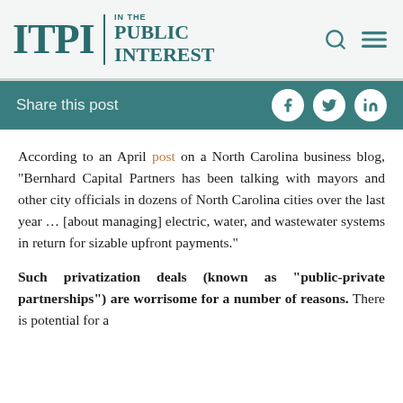ITPI | IN THE PUBLIC INTEREST
Share this post
According to an April post on a North Carolina business blog, “Bernhard Capital Partners has been talking with mayors and other city officials in dozens of North Carolina cities over the last year … [about managing] electric, water, and wastewater systems in return for sizable upfront payments.”
Such privatization deals (known as “public-private partnerships”) are worrisome for a number of reasons. There is potential for a